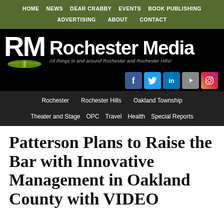HOME  NEWS  DEAR CRABBY  EVENTS  BOOK PUBLISHING  ADVERTISING  ABOUT  CONTACT
[Figure (logo): Rochester Media logo — RM letters with open book icon, tagline: All things in and around Rochester and Rochester Hills!]
Rochester  Rochester Hills  Oakland Township  Theater and Stage  OPC  Travel  Health  Special Reports
Patterson Plans to Raise the Bar with Innovative Management in Oakland County with VIDEO